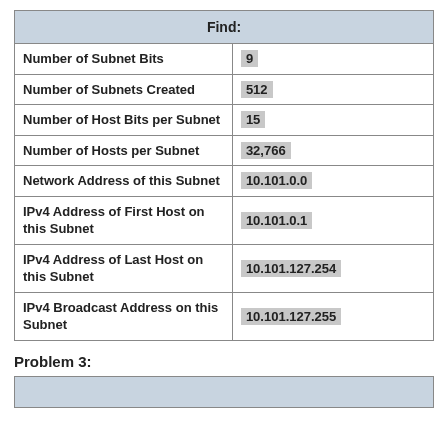| Find: |  |
| --- | --- |
| Number of Subnet Bits | 9 |
| Number of Subnets Created | 512 |
| Number of Host Bits per Subnet | 15 |
| Number of Hosts per Subnet | 32,766 |
| Network Address of this Subnet | 10.101.0.0 |
| IPv4 Address of First Host on this Subnet | 10.101.0.1 |
| IPv4 Address of Last Host on this Subnet | 10.101.127.254 |
| IPv4 Broadcast Address on this Subnet | 10.101.127.255 |
Problem 3:
|  |